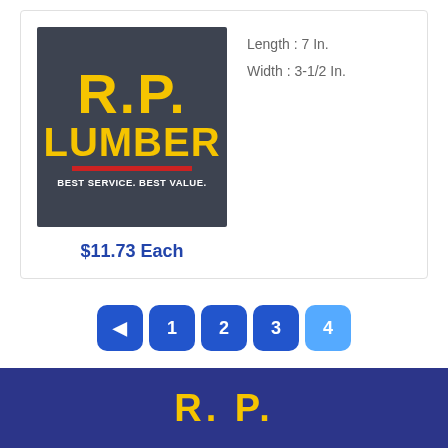[Figure (logo): R.P. Lumber logo on dark background with tagline BEST SERVICE. BEST VALUE.]
Length : 7 In.
Width : 3-1/2 In.
$11.73 Each
◄ 1 2 3 4 (pagination buttons)
[Figure (logo): R.P. Lumber partial logo in footer (yellow text on dark blue background)]